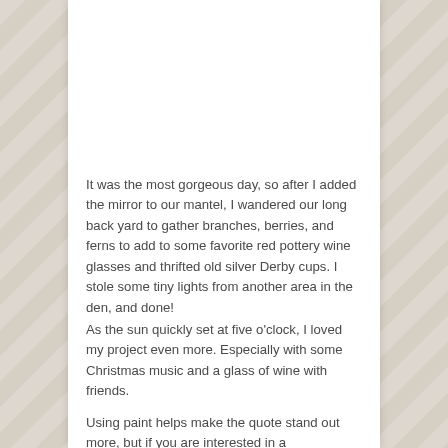It was the most gorgeous day, so after I added the mirror to our mantel, I wandered our long back yard to gather branches, berries, and ferns to add to some favorite red pottery wine glasses and thrifted old silver Derby cups. I stole some tiny lights from another area in the den, and done!
As the sun quickly set at five o'clock, I loved my project even more. Especially with some Christmas music and a glass of wine with friends.
Using paint helps make the quote stand out more, but if you are interested in a permanently